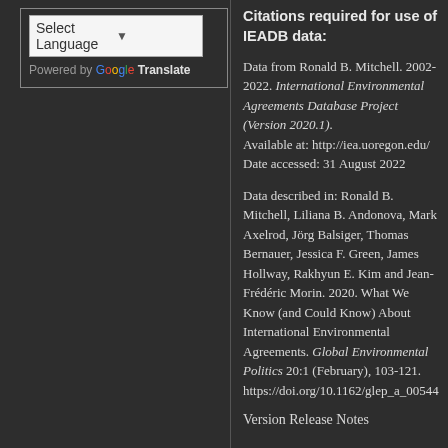[Figure (other): Google Translate widget with language selector dropdown showing 'Select Language' and 'Powered by Google Translate' text]
Citations required for use of IEADB data:
Data from Ronald B. Mitchell. 2002-2022. International Environmental Agreements Database Project (Version 2020.1). Available at: http://iea.uoregon.edu/ Date accessed: 31 August 2022
Data described in: Ronald B. Mitchell, Liliana B. Andonova, Mark Axelrod, Jörg Balsiger, Thomas Bernauer, Jessica F. Green, James Hollway, Rakhyun E. Kim and Jean-Frédéric Morin. 2020. What We Know (and Could Know) About International Environmental Agreements. Global Environmental Politics 20:1 (February), 103-121. https://doi.org/10.1162/glep_a_00544
Version Release Notes